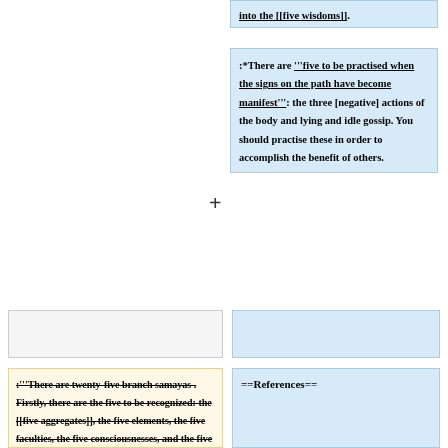into the [[five wisdoms]].
:*There are '''five to be practised when the signs on the path have become manifest''': the three [negative] actions of the body and lying and idle gossip. You should practise these in order to accomplish the benefit of others.
:'''There are twenty-five branch samayas . Firstly, there are the five to be recognized: the [[five aggregates]], the five elements, the five faculties, the five consciousnesses, and the five objects. These should be
==References==